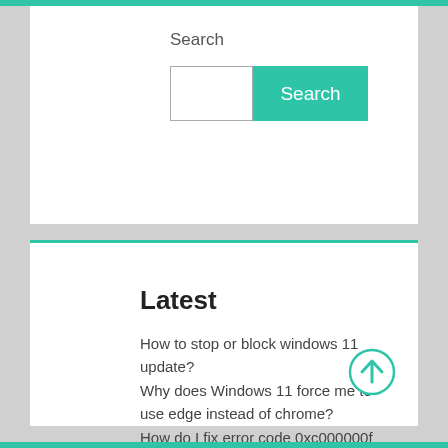Search
[Figure (screenshot): Search input box with a teal Search button]
Latest
How to stop or block windows 11 update?
Why does Windows 11 force me to use edge instead of chrome?
How do I fix error code 0xc000000f without disc?
How to fix adb exe has stopped working?
How do you fix an unexpected error occurred while configuring the network bridge?